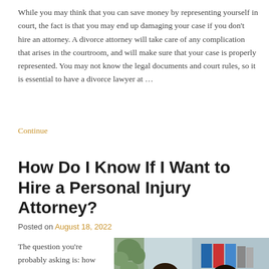While you may think that you can save money by representing yourself in court, the fact is that you may end up damaging your case if you don't hire an attorney. A divorce attorney will take care of any complication that arises in the courtroom, and will make sure that your case is properly represented. You may not know the legal documents and court rules, so it is essential to have a divorce lawyer at …
Continue
How Do I Know If I Want to Hire a Personal Injury Attorney?
Posted on August 18, 2022
The question you're probably asking is: how
[Figure (photo): Two women sitting across from each other in an office setting, with bookshelves and binders visible in the background. One woman has dark hair with bangs and is smiling.]